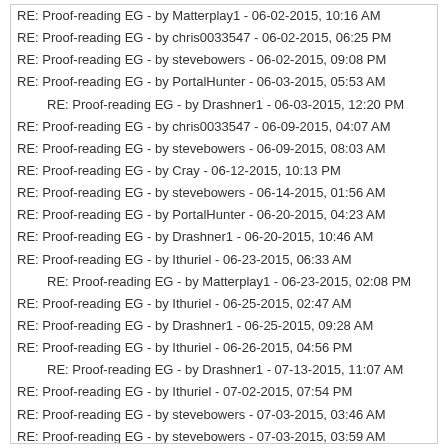RE: Proof-reading EG - by Matterplay1 - 06-02-2015, 10:16 AM
RE: Proof-reading EG - by chris0033547 - 06-02-2015, 06:25 PM
RE: Proof-reading EG - by stevebowers - 06-02-2015, 09:08 PM
RE: Proof-reading EG - by PortalHunter - 06-03-2015, 05:53 AM
RE: Proof-reading EG - by Drashner1 - 06-03-2015, 12:20 PM
RE: Proof-reading EG - by chris0033547 - 06-09-2015, 04:07 AM
RE: Proof-reading EG - by stevebowers - 06-09-2015, 08:03 AM
RE: Proof-reading EG - by Cray - 06-12-2015, 10:13 PM
RE: Proof-reading EG - by stevebowers - 06-14-2015, 01:56 AM
RE: Proof-reading EG - by PortalHunter - 06-20-2015, 04:23 AM
RE: Proof-reading EG - by Drashner1 - 06-20-2015, 10:46 AM
RE: Proof-reading EG - by Ithuriel - 06-23-2015, 06:33 AM
RE: Proof-reading EG - by Matterplay1 - 06-23-2015, 02:08 PM
RE: Proof-reading EG - by Ithuriel - 06-25-2015, 02:47 AM
RE: Proof-reading EG - by Drashner1 - 06-25-2015, 09:28 AM
RE: Proof-reading EG - by Ithuriel - 06-26-2015, 04:56 PM
RE: Proof-reading EG - by Drashner1 - 07-13-2015, 11:07 AM
RE: Proof-reading EG - by Ithuriel - 07-02-2015, 07:54 PM
RE: Proof-reading EG - by stevebowers - 07-03-2015, 03:46 AM
RE: Proof-reading EG - by stevebowers - 07-03-2015, 03:59 AM
RE: Proof-reading EG - by Ithuriel - 07-08-2015, 07:48 PM
RE: Proof-reading EG - by Drashner1 - 07-13-2015, 11:11 AM
RE: Proof-reading EG - by Bear - 07-11-2015, 03:45 AM
RE: Proof-reading EG - by stevebowers - 07-11-2015, 05:13 AM
RE: Proof-reading EG - by Ithuriel - 07-15-2015, 04:45 AM